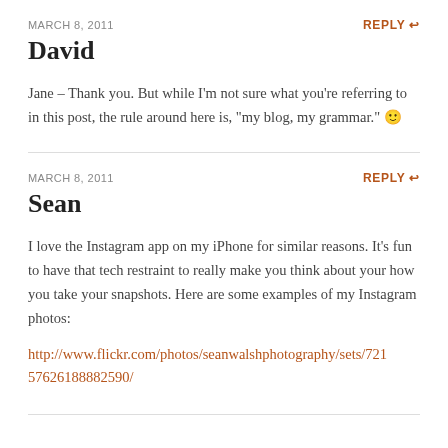MARCH 8, 2011
REPLY ↩
David
Jane – Thank you. But while I'm not sure what you're referring to in this post, the rule around here is, "my blog, my grammar." 🙂
MARCH 8, 2011
REPLY ↩
Sean
I love the Instagram app on my iPhone for similar reasons. It's fun to have that tech restraint to really make you think about your how you take your snapshots. Here are some examples of my Instagram photos:
http://www.flickr.com/photos/seanwalshphotography/sets/72157626188882590/